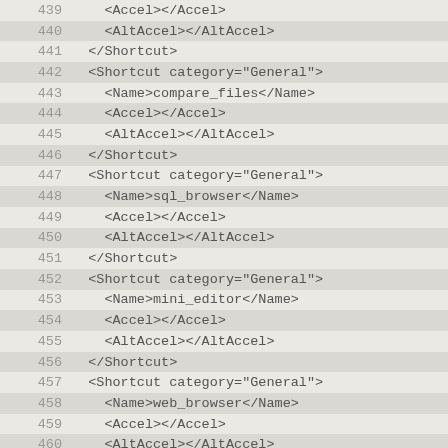Code listing lines 439-465 showing XML shortcut definitions with category="General" for compare_files, sql_browser, mini_editor, web_browser, and icon_editor